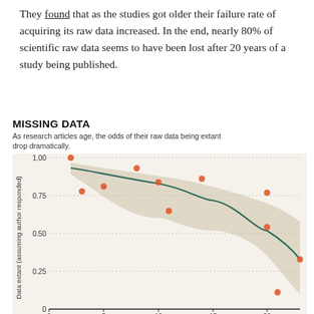They found that as the studies got older their failure rate of acquiring its raw data increased. In the end, nearly 80% of scientific raw data seems to have been lost after 20 years of a study being published.
[Figure (continuous-plot): Scatter plot with fitted curve and confidence interval showing Data extant (assuming author responded) on y-axis (0 to 1.00) vs Age of paper (years) on x-axis (0 to ~23). Orange data points scattered showing decline from ~1.0 at age 2 to ~0.1 at age 20-22. Dark green fitted curve with tan/beige confidence band showing declining trend from ~0.93 at age 2 to ~0.33 at age 23.]